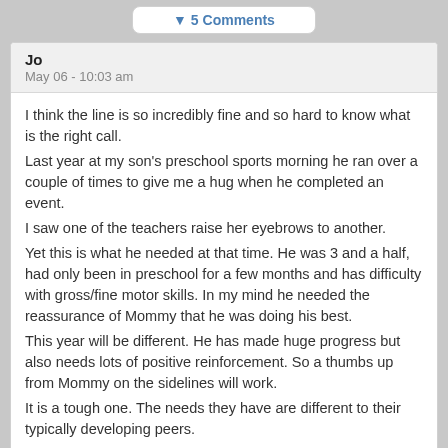▼ 5 Comments
Jo
May 06 - 10:03 am
I think the line is so incredibly fine and so hard to know what is the right call.
Last year at my son's preschool sports morning he ran over a couple of times to give me a hug when he completed an event.
I saw one of the teachers raise her eyebrows to another.
Yet this is what he needed at that time. He was 3 and a half, had only been in preschool for a few months and has difficulty with gross/fine motor skills. In my mind he needed the reassurance of Mommy that he was doing his best.
This year will be different. He has made huge progress but also needs lots of positive reinforcement. So a thumbs up from Mommy on the sidelines will work.
It is a tough one. The needs they have are different to their typically developing peers.
I have struggled with this. People who say but you don't want him to be different…But he is his joints and muscles work differently so he has some unique needs.
Such a fine and wobbly line.
Peace